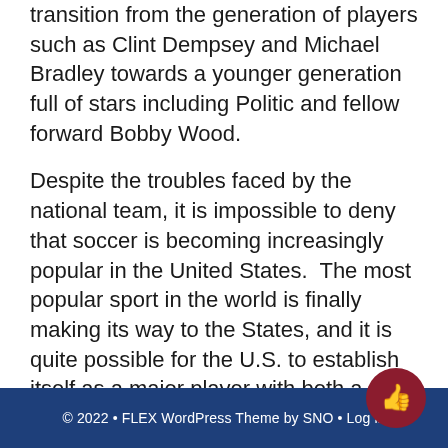transition from the generation of players such as Clint Dempsey and Michael Bradley towards a younger generation full of stars including Politic and fellow forward Bobby Wood.
Despite the troubles faced by the national team, it is impossible to deny that soccer is becoming increasingly popular in the United States.  The most popular sport in the world is finally making its way to the States, and it is quite possible for the U.S. to establish itself as a major player with both a thriving club team and successful national team.  Although it may not happen in this generation, soccer is soon to become an integral part of American sports culture.
© 2022 • FLEX WordPress Theme by SNO • Log in